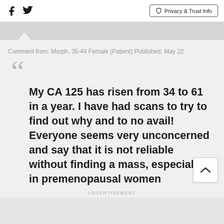Privacy & Trust Info
Comment from: Morph, 35-44 Female (Patient) Published: May 22
My CA 125 has risen from 34 to 61 in a year. I have had scans to try to find out why and to no avail! Everyone seems very unconcerned and say that it is not reliable without finding a mass, especially in premenopausal women
ADVERTISEMENT